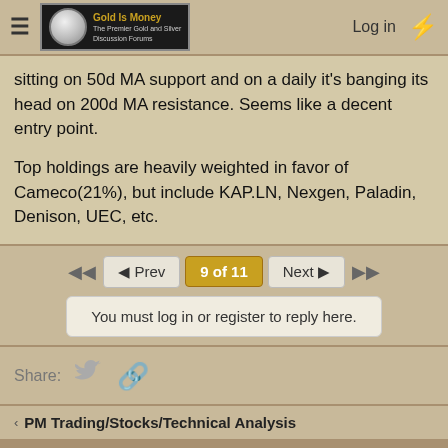Gold Is Money — The Premier Gold and Silver Discussion Forums | Log in
sitting on 50d MA support and on a daily it's banging its head on 200d MA resistance. Seems like a decent entry point.

Top holdings are heavily weighted in favor of Cameco(21%), but include KAP.LN, Nexgen, Paladin, Denison, UEC, etc.
◄◄  ◄ Prev  9 of 11  Next ►  ►►
You must log in or register to reply here.
Share:
< PM Trading/Stocks/Technical Analysis
GIM Forum
Contact us  Terms and rules  Privacy  Help  Home
Community platform by XenForo® © 2010-2021 XenForo Ltd.